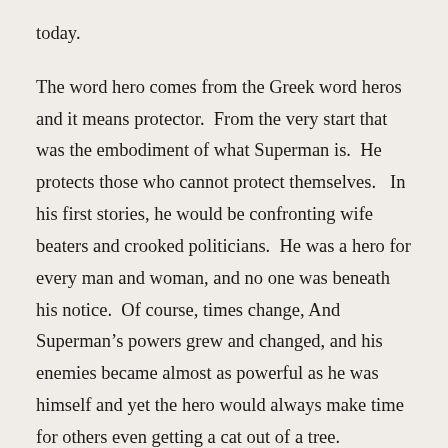today.
The word hero comes from the Greek word heros and it means protector.  From the very start that was the embodiment of what Superman is.  He protects those who cannot protect themselves.   In his first stories, he would be confronting wife beaters and crooked politicians.  He was a hero for every man and woman, and no one was beneath his notice.  Of course, times change, And Superman’s powers grew and changed, and his enemies became almost as powerful as he was himself and yet the hero would always make time for others even getting a cat out of a tree.